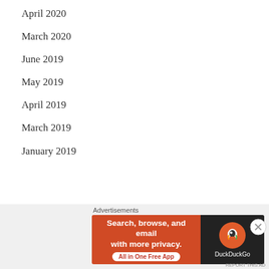April 2020
March 2020
June 2019
May 2019
April 2019
March 2019
January 2019
[Figure (screenshot): DuckDuckGo advertisement banner: 'Search, browse, and email with more privacy. All in One Free App' with DuckDuckGo logo on dark background, preceded by 'Advertisements' label]